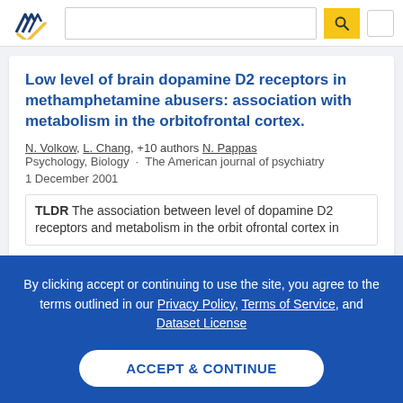[Figure (logo): Semantic Scholar logo — dark blue stylized book/checkmark with gold accent]
Low level of brain dopamine D2 receptors in methamphetamine abusers: association with metabolism in the orbitofrontal cortex.
N. Volkow, L. Chang, +10 authors N. Pappas
Psychology, Biology · The American journal of psychiatry
1 December 2001
TLDR The association between level of dopamine D2 receptors and metabolism in the orbit ofrontal cortex in
By clicking accept or continuing to use the site, you agree to the terms outlined in our Privacy Policy, Terms of Service, and Dataset License
ACCEPT & CONTINUE